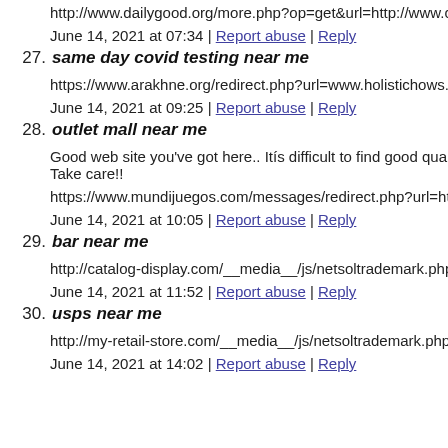http://www.dailygood.org/more.php?op=get&url=http://www.c
June 14, 2021 at 07:34 | Report abuse | Reply
27. same day covid testing near me
https://www.arakhne.org/redirect.php?url=www.holistichows.c
June 14, 2021 at 09:25 | Report abuse | Reply
28. outlet mall near me
Good web site you've got here.. Itís difficult to find good quali Take care!!
https://www.mundijuegos.com/messages/redirect.php?url=http
June 14, 2021 at 10:05 | Report abuse | Reply
29. bar near me
http://catalog-display.com/__media__/js/netsoltrademark.php?
June 14, 2021 at 11:52 | Report abuse | Reply
30. usps near me
http://my-retail-store.com/__media__/js/netsoltrademark.php?c
June 14, 2021 at 14:02 | Report abuse | Reply